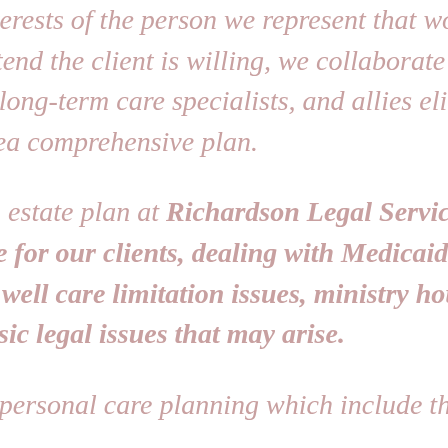interests of the person we represent that would extend the client is willing, we collaborate in long-term care specialists, and allies elite area comprehensive plan. An estate plan at Richardson Legal Services, are for our clients, dealing with Medicaid as well care limitation issues, ministry house, basic legal issues that may arise. of personal care planning which include the